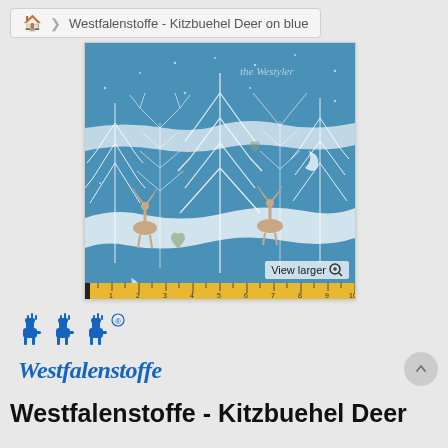Westfalenstoffe - Kitzbuehel Deer on blue
[Figure (photo): Westfalenstoffe fabric called Kitzbuehel Deer on blue - a blue fabric with white illustrated winter trees, deer, moons, and snowy landscape elements. A ruler strip is visible at the bottom. Watermark reads 'the Westyler'. Text overlay: 'View larger' with magnifier icon.]
[Figure (logo): Westfalenstoffe logo with three stylized dog/cat silhouettes and the brand name in blue italic serif font, with registered trademark symbol.]
Westfalenstoffe - Kitzbuehel Deer